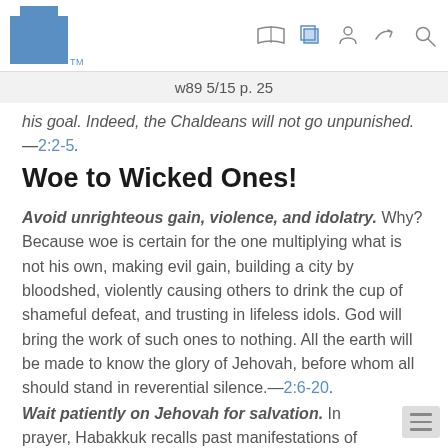w89 5/15 p. 25
his goal. Indeed, the Chaldeans will not go unpunished.—2:2-5.
Woe to Wicked Ones!
Avoid unrighteous gain, violence, and idolatry. Why? Because woe is certain for the one multiplying what is not his own, making evil gain, building a city by bloodshed, violently causing others to drink the cup of shameful defeat, and trusting in lifeless idols. God will bring the work of such ones to nothing. All the earth will be made to know the glory of Jehovah, before whom all should stand in reverential silence.—2:6-20.
Wait patiently on Jehovah for salvation. In prayer, Habakkuk recalls past manifestations of God's power.